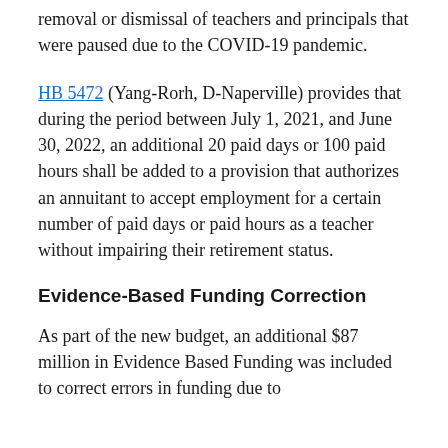removal or dismissal of teachers and principals that were paused due to the COVID-19 pandemic.
HB 5472 (Yang-Rorh, D-Naperville) provides that during the period between July 1, 2021, and June 30, 2022, an additional 20 paid days or 100 paid hours shall be added to a provision that authorizes an annuitant to accept employment for a certain number of paid days or paid hours as a teacher without impairing their retirement status.
Evidence-Based Funding Correction
As part of the new budget, an additional $87 million in Evidence Based Funding was included to correct errors in funding due to